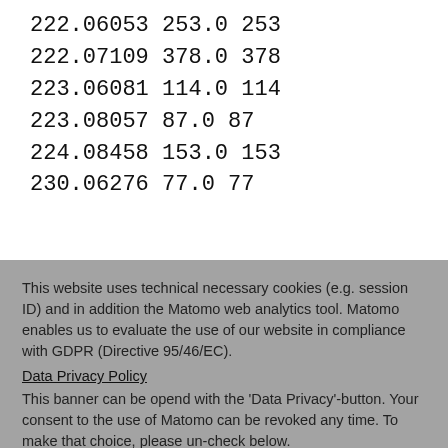222.06053 253.0 253
222.07109 378.0 378
223.06081 114.0 114
223.08057 87.0 87
224.08458 153.0 153
230.06276 77.0 77
This website uses technical necessary cookies (e.g. session ID) and in addition the Matomo web analytics tool. Matomo enables us to evaluate the use of our website in compliance with GDPR (Directive 95/46/EC).
Data Privacy Policy
This banner can be opend with the 'Data Privacy'-button. Your consent to the use of Matomo can be revoked any time. To make that choice, please un-check below.
Tracking is enabled. Click here to decline.
Ok